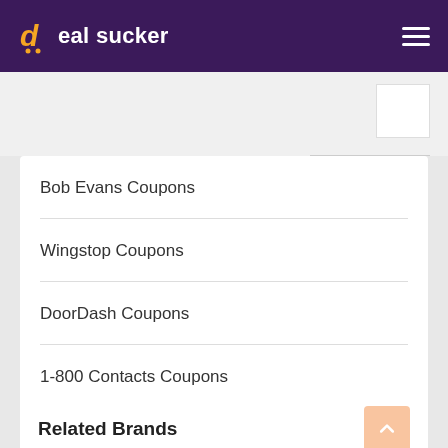deal sucker
Bob Evans Coupons
Wingstop Coupons
DoorDash Coupons
1-800 Contacts Coupons
Related Brands